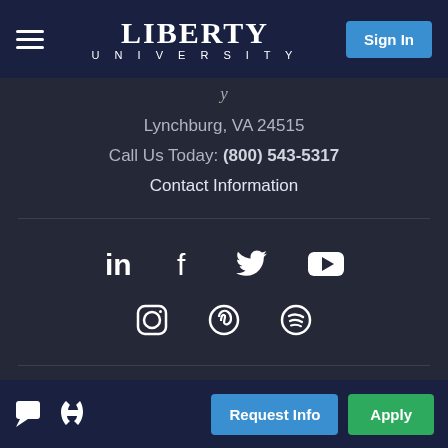LIBERTY UNIVERSITY | Sign In
Lynchburg, VA 24515
Call Us Today: (800) 543-5317
Contact Information
[Figure (other): Social media icons: LinkedIn, Facebook, Twitter, YouTube, Instagram, Pinterest, Spotify]
Request Info | Apply